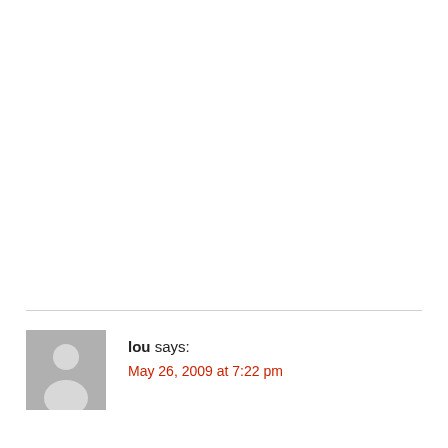lou says: May 26, 2009 at 7:22 pm